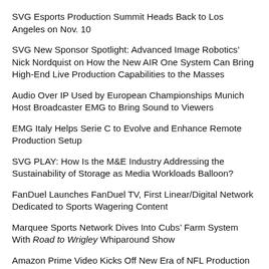SVG Esports Production Summit Heads Back to Los Angeles on Nov. 10
SVG New Sponsor Spotlight: Advanced Image Robotics’ Nick Nordquist on How the New AIR One System Can Bring High-End Live Production Capabilities to the Masses
Audio Over IP Used by European Championships Munich Host Broadcaster EMG to Bring Sound to Viewers
EMG Italy Helps Serie C to Evolve and Enhance Remote Production Setup
SVG PLAY: How Is the M&E Industry Addressing the Sustainability of Storage as Media Workloads Balloon?
FanDuel Launches FanDuel TV, First Linear/Digital Network Dedicated to Sports Wagering Content
Marquee Sports Network Dives Into Cubs’ Farm System With Road to Wrigley Whiparound Show
Amazon Prime Video Kicks Off New Era of NFL Production With Exclusive Thursday Night Football Package
Little League Baseball World Series 2022: ESPN Expands Coverage With 1080p Production, New-Look Compound